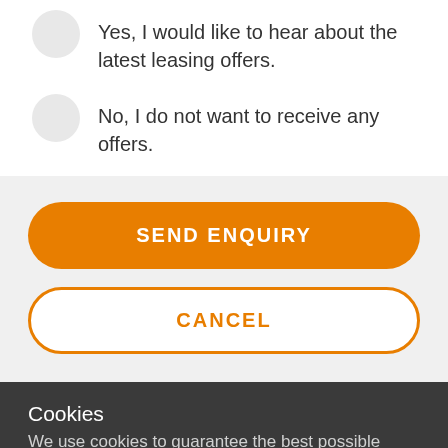Yes, I would like to hear about the latest leasing offers.
No, I do not want to receive any offers.
SEND ENQUIRY
CANCEL
Cookies
We use cookies to guarantee the best possible website experience. By continuing to use our site, you agree that we can place these cookies on your computer/device.
CONTINUE
Chat now